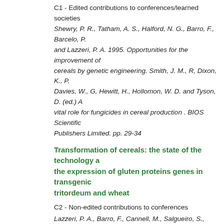C1 - Edited contributions to conferences/learned societies Shewry, P. R., Tatham, A. S., Halford, N. G., Barro, F., Barcelo, P. and Lazzeri, P. A. 1995. Opportunities for the improvement of cereals by genetic engineering. Smith, J. M., R, Dixon, K., P, Davies, W., G, Hewitt, H., Hollomon, W. D. and Tyson, D. (ed.) A vital role for fungicides in cereal production . BIOS Scientific Publishers Limited. pp. 29-34
Transformation of cereals: the state of the technology and the expression of gluten proteins genes in transgenic tritordeum and wheat
C2 - Non-edited contributions to conferences
Lazzeri, P. A., Barro, F., Cannell, M., Salgueiro, S., Shewry, P. R., Tatham, A. S., Halford, N. G. and Barcelo, P. 1995. Transformation of cereals: the state of the technology and the expression of gluten proteins genes in transgenic tritordeum and wheat. Abstracts SEB Symposium on Molecular Physiology of Crop Plants, Versailles, July 1995 .
Biotechnology of breadmaking: unraveling and